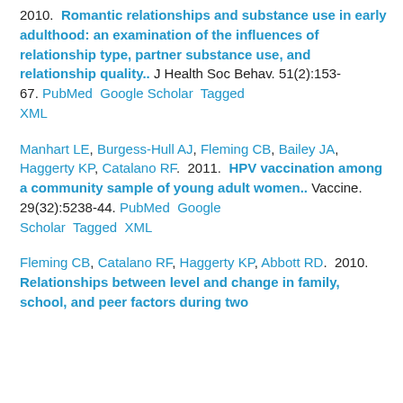2010.  Romantic relationships and substance use in early adulthood: an examination of the influences of relationship type, partner substance use, and relationship quality..  J Health Soc Behav. 51(2):153-67. PubMed  Google Scholar  Tagged  XML
Manhart LE, Burgess-Hull AJ, Fleming CB, Bailey JA, Haggerty KP, Catalano RF.  2011.  HPV vaccination among a community sample of young adult women..  Vaccine. 29(32):5238-44. PubMed  Google Scholar  Tagged  XML
Fleming CB, Catalano RF, Haggerty KP, Abbott RD.  2010.  Relationships between level and change in family, school, and peer factors during two